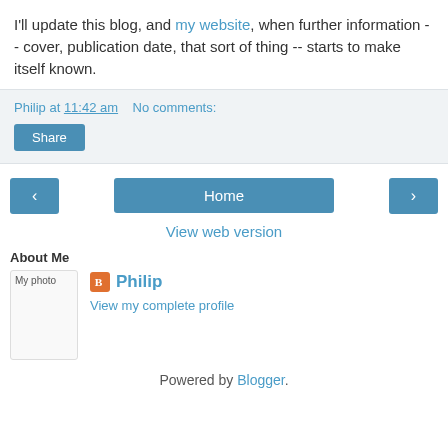I'll update this blog, and my website, when further information -- cover, publication date, that sort of thing -- starts to make itself known.
Philip at 11:42 am   No comments:
Share
‹   Home   ›
View web version
About Me
[Figure (photo): My photo placeholder image]
Philip
View my complete profile
Powered by Blogger.